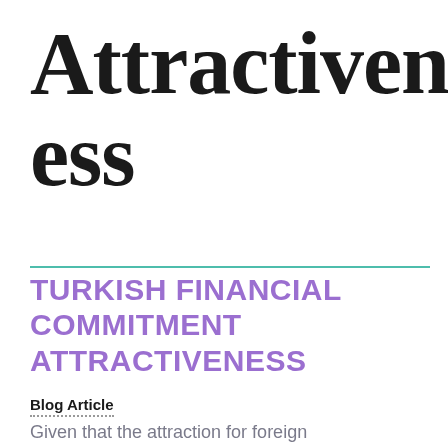Attractiveness
TURKISH FINANCIAL COMMITMENT ATTRACTIVENESS
Blog Article
Given that the attraction for foreign